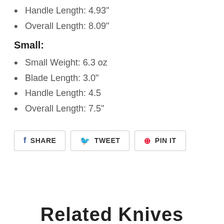Handle Length: 4.93"
Overall Length: 8.09"
Small:
Small Weight: 6.3 oz
Blade Length: 3.0"
Handle Length: 4.5
Overall Length: 7.5"
SHARE  TWEET  PIN IT
Related Knives